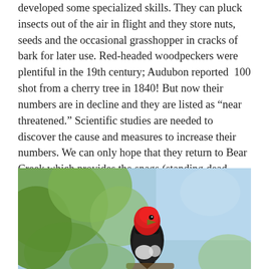developed some specialized skills. They can pluck insects out of the air in flight and they store nuts, seeds and the occasional grasshopper in cracks of bark for later use. Red-headed woodpeckers were plentiful in the 19th century; Audubon reported  100 shot from a cherry tree in 1840! But now their numbers are in decline and they are listed as “near threatened.” Scientific studies are needed to discover the cause and measures to increase their numbers. We can only hope that they return to Bear Creek which provides the snags (standing dead trees) they need for nesting and plenty of the acorns that they love to eat.
[Figure (photo): A red-headed woodpecker perched, showing its bright red head against a blurred green and blue natural background.]